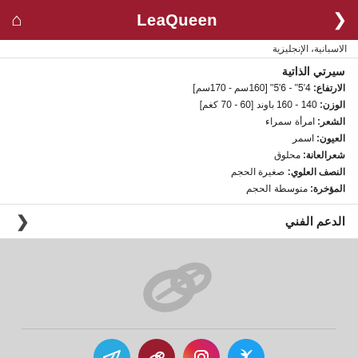LeaQueen
الاسبانية، الإنجليزية
سيرتي الذاتية
الارتفاع: 4'5" - 6'5" [160سم - 170سم]
الوزن: 140 - 160 باوند [60 - 70 كغم]
الشعر: امرأة سمراء
العيون: اسمر
شعرالعانة: محلوق
النصف العلوي: صغيرة الحجم
المؤخرة: متوسطة الحجم
الدعم الفني
[Figure (logo): Redcams watermark logo in grey]
© جميع الحقوق محفوظة. 2022
www.redcams.pw
يرجى زيارة الموقع EPOCH و SEGPAY. مندوب مبيعاتنا المخوّل.